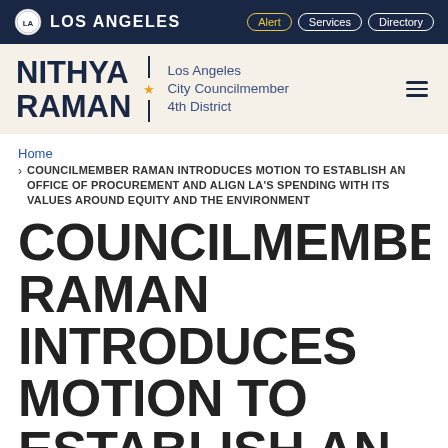LOS ANGELES | Alert | Services | Directory
NITHYA RAMAN | Los Angeles City Councilmember 4th District
Home
> COUNCILMEMBER RAMAN INTRODUCES MOTION TO ESTABLISH AN OFFICE OF PROCUREMENT AND ALIGN LA'S SPENDING WITH ITS VALUES AROUND EQUITY AND THE ENVIRONMENT
COUNCILMEMBER RAMAN INTRODUCES MOTION TO ESTABLISH AN